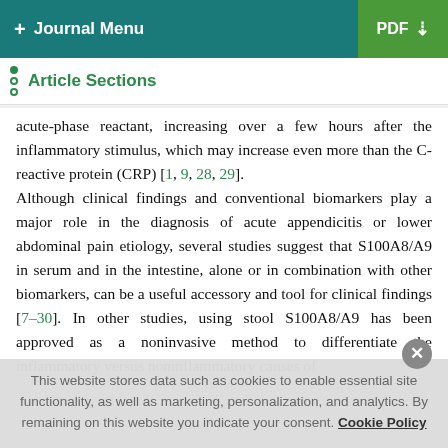+ Journal Menu | PDF
Article Sections
acute-phase reactant, increasing over a few hours after the inflammatory stimulus, which may increase even more than the C-reactive protein (CRP) [1, 9, 28, 29].
Although clinical findings and conventional biomarkers play a major role in the diagnosis of acute appendicitis or lower abdominal pain etiology, several studies suggest that S100A8/A9 in serum and in the intestine, alone or in combination with other biomarkers, can be a useful accessory and tool for clinical findings [7–30]. In other studies, using stool S100A8/A9 has been approved as a noninvasive method to differentiate the inflammatory versus noninflammatory causes of
This website stores data such as cookies to enable essential site functionality, as well as marketing, personalization, and analytics. By remaining on this website you indicate your consent. Cookie Policy